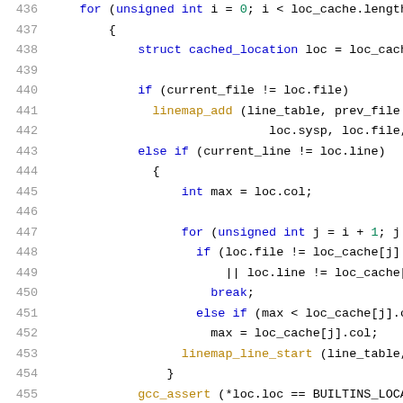[Figure (screenshot): Source code listing (C/C++) showing lines 436-456 with syntax highlighting. Line numbers in grey on the left, code in blue/gold/black on the right.]